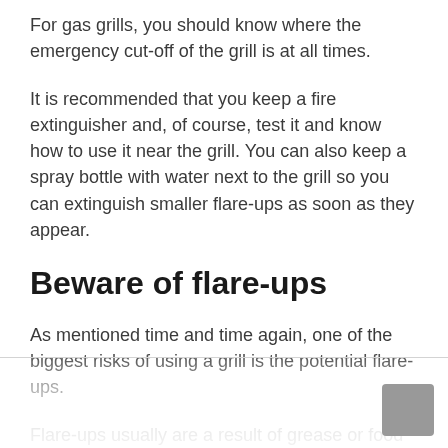For gas grills, you should know where the emergency cut-off of the grill is at all times.
It is recommended that you keep a fire extinguisher and, of course, test it and know how to use it near the grill. You can also keep a spray bottle with water next to the grill so you can extinguish smaller flare-ups as soon as they appear.
Beware of flare-ups
As mentioned time and time again, one of the biggest risks of using a grill is the potential flare-ups.
Flare-ups usually are a result of grease or food getting in contact with the open flame